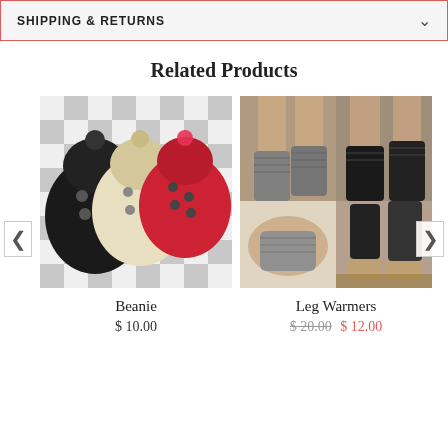SHIPPING & RETURNS
Related Products
[Figure (photo): Collage of knitted button beanies in black, white/cream, and red colors arranged on a black and white checkered fabric background]
Beanie
$ 10.00
[Figure (photo): Collage of leg warmers shown on bare legs, including gray ribbed stirrup leg warmers and black knee-high leg warmers, shown in outdoor setting]
Leg Warmers
$ 20.00  $ 12.00